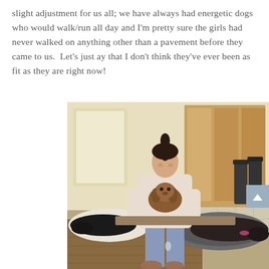slight adjustment for us all; we have always had energetic dogs who would walk/run all day and I'm pretty sure the girls had never walked on anything other than a pavement before they came to us.  Let's just ay that I don't think they've ever been as fit as they are right now!
[Figure (photo): A young woman with dark hair in a ponytail sits on a bench between two dog beds. She holds a small brown/red poodle-type dog in her lap. A black dog lies on a white dog bed to her left, and a large dark dog rests on a grey dog bed to her right. In the background is a wooden door and a pair of dark wellington boots. The room has wooden flooring and tiled entry area.]